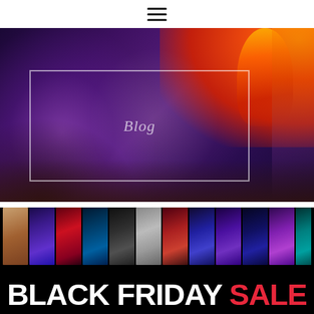[Figure (screenshot): Navigation bar with hamburger menu icon (three horizontal lines) centered on white background]
[Figure (photo): Fantasy illustration of a woman with long flowing hair holding a flaming staff/spear, surrounded by purple smoke and orange/red fire effects. A semi-transparent white rectangle with the word 'Blog' is overlaid in the center of the image.]
[Figure (photo): Black Friday Sale banner showing a row of fantasy/romance book covers along the top and large bold text reading 'BLACK FRIDAY SALE' where BLACK FRIDAY is in white and SALE is in red, on a black background.]